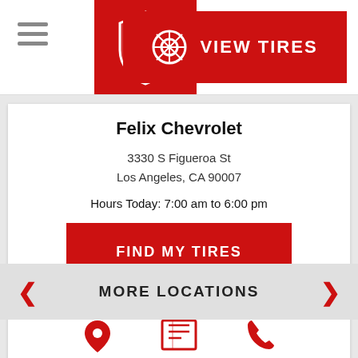[Figure (logo): Firestone shield logo in white on red background]
VIEW TIRES
Felix Chevrolet
3330 S Figueroa St
Los Angeles, CA 90007
Hours Today: 7:00 am to 6:00 pm
FIND MY TIRES
Get Directions
[Figure (illustration): Map pin icon in red]
Map
[Figure (illustration): Newspaper/details icon in red]
Details
[Figure (illustration): Phone/call icon in red]
Call
MORE LOCATIONS